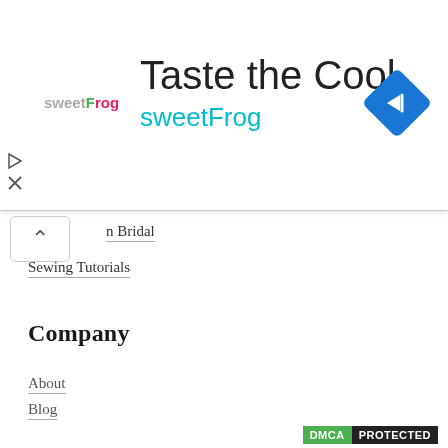[Figure (screenshot): SweetFrog advertisement banner with logo, 'Taste the Cool' heading, sweetFrog subtitle in cyan, and a blue navigation icon on the right]
n Bridal
Sewing Tutorials
Company
About
Blog
Support
Contact
Terms of Service
[Figure (logo): DMCA PROTECTED badge]